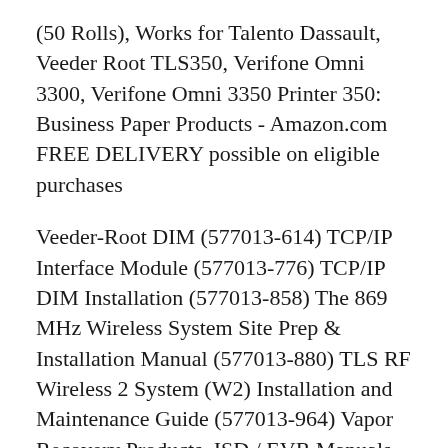(50 Rolls), Works for Talento Dassault, Veeder Root TLS350, Verifone Omni 3300, Verifone Omni 3350 Printer 350: Business Paper Products - Amazon.com FREE DELIVERY possible on eligible purchases
Veeder-Root DIM (577013-614) TCP/IP Interface Module (577013-776) TCP/IP DIM Installation (577013-858) The 869 MHz Wireless System Site Prep & Installation Manual (577013-880) TLS RF Wireless 2 System (W2) Installation and Maintenance Guide (577013-964) Vapor Recovery Products. ISD / EVR Manuals . In-Station Diagnostics Troubleshooting Guide (577013-819) In-Station Diagnostics Quick 1 Introduction This manual describes the site preparation and installation procedures for the